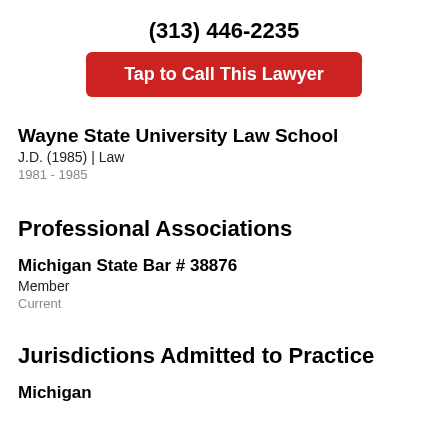(313) 446-2235
Tap to Call This Lawyer
Wayne State University Law School
J.D. (1985) | Law
1981 - 1985
Professional Associations
Michigan State Bar  # 38876
Member
Current
Jurisdictions Admitted to Practice
Michigan